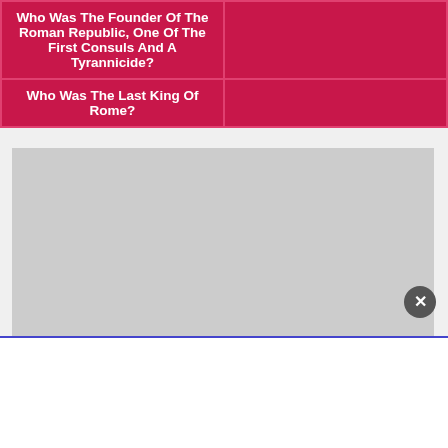| Question | Answer |
| --- | --- |
| Who Was The Founder Of The Roman Republic, One Of The First Consuls And A Tyrannicide? |  |
| Who Was The Last King Of Rome? |  |
[Figure (photo): Gray placeholder image in the middle of the page]